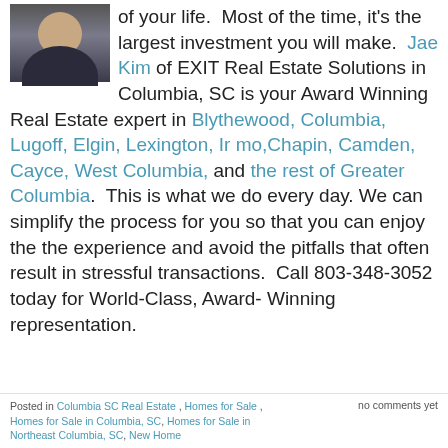[Figure (photo): Headshot photo of a man in a dark suit with tie]
of your life.  Most of the time, it's the largest investment you will make.  Jae Kim of EXIT Real Estate Solutions in Columbia, SC is your Award Winning Real Estate expert in Blythewood, Columbia, Lugoff, Elgin, Lexington, Irmo,Chapin, Camden, Cayce, West Columbia, and the rest of Greater Columbia.  This is what we do every day. We can simplify the process for you so that you can enjoy the the experience and avoid the pitfalls that often result in stressful transactions.  Call 803-348-3052 today for World-Class, Award- Winning representation.
Posted in Columbia SC Real Estate , Homes for Sale , Homes for Sale in Columbia, SC, Homes for Sale in Northeast Columbia, SC, New Home    no comments yet